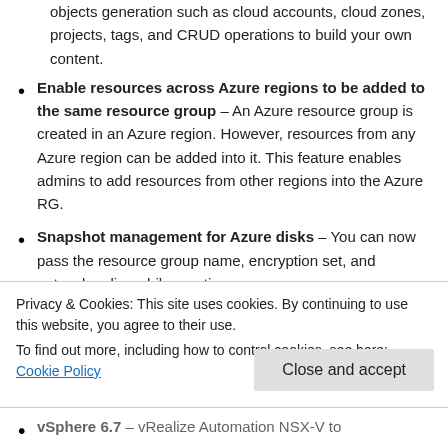objects generation such as cloud accounts, cloud zones, projects, tags, and CRUD operations to build your own content.
Enable resources across Azure regions to be added to the same resource group – An Azure resource group is created in an Azure region. However, resources from any Azure region can be added into it. This feature enables admins to add resources from other regions into the Azure RG.
Snapshot management for Azure disks – You can now pass the resource group name, encryption set, and network policy while creating
Privacy & Cookies: This site uses cookies. By continuing to use this website, you agree to their use.
To find out more, including how to control cookies, see here: Cookie Policy
Close and accept
vSphere 6.7 – vRealize Automation NSX-V to